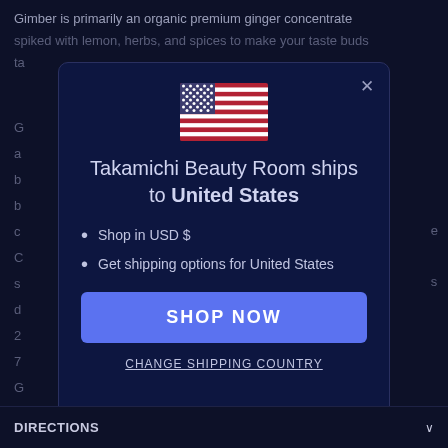Gimber is primarily an organic premium ginger concentrate spiked with lemon, herbs, and spices to make your taste buds tingle...
[Figure (screenshot): Modal dialog with US flag, title 'Takamichi Beauty Room ships to United States', bullet points about USD and shipping, SHOP NOW button, and CHANGE SHIPPING COUNTRY link]
DIRECTIONS